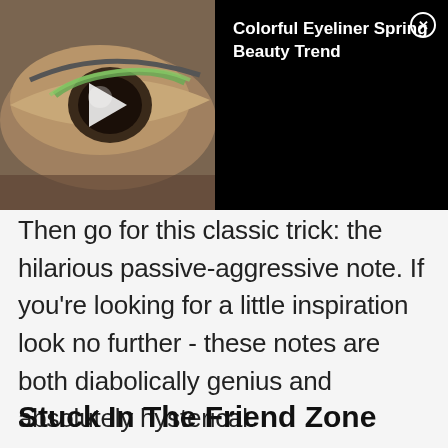[Figure (screenshot): Video thumbnail showing a close-up of an eye with green eyeliner, with a play button overlay, and a black panel on the right showing the title 'Colorful Eyeliner Spring Beauty Trend' with a close (X) button]
Then go for this classic trick: the hilarious passive-aggressive note. If you're looking for a little inspiration look no further - these notes are both diabolically genius and absolutely hysterical.
Stuck In The Friend Zone